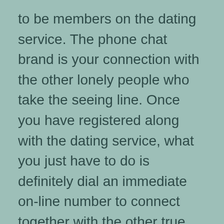to be members on the dating service. The phone chat brand is your connection with the other lonely people who take the seeing line. Once you have registered along with the dating service, what you just have to do is definitely dial an immediate on-line number to connect together with the other true romance.
If you are not comfortable communicating with other neighborhood singles over the phone then you can use the on the internet service provider's webcam. As well . does not work and also using the conversation line, nonetheless it is better than simply no